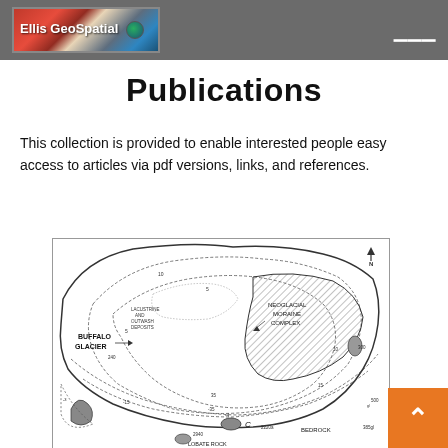Ellis GeoSpatial
Publications
This collection is provided to enable interested people easy access to articles via pdf versions, links, and references.
[Figure (map): Geological map of Buffalo Glacier area showing Neoglacial Moraine Complex, Lacustrine and Outwash Deposits, Lobate Rock, Bedrock (point C), contour lines with elevation values (10, 5, 5, 240, 10, 15, 35, 4, 2294, 2940, 500, 385gl), and a North arrow.]